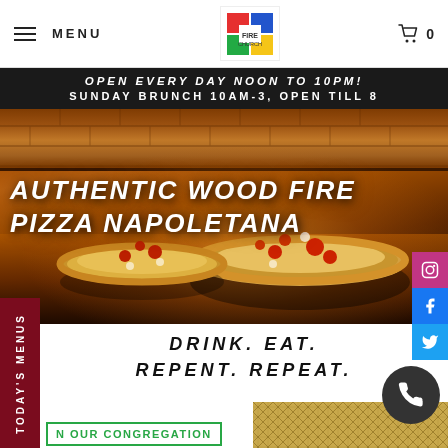MENU
OPEN EVERY DAY NOON TO 10PM! SUNDAY BRUNCH 10AM-3, OPEN TILL 8
[Figure (photo): Wood fire pizza oven with Neapolitan pizzas baking on the stone floor, with warm orange and brown tones]
AUTHENTIC WOOD FIRE PIZZA NAPOLETANA
DRINK.  EAT.  REPENT.  REPEAT.
N OUR CONGREGATION